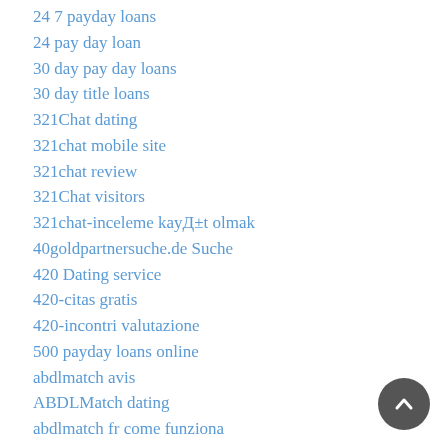24 7 payday loans
24 pay day loan
30 day pay day loans
30 day title loans
321Chat dating
321chat mobile site
321chat review
321Chat visitors
321chat-inceleme kayД±t olmak
40goldpartnersuche.de Suche
420 Dating service
420-citas gratis
420-incontri valutazione
500 payday loans online
abdlmatch avis
ABDLMatch dating
abdlmatch fr come funziona
abdlmatch funziona
abdlmatch mobile
abdlmatch recenzje
ABDLmatch visitors
abdlmatch-overzicht Dating
abdlmatch-overzicht Log in